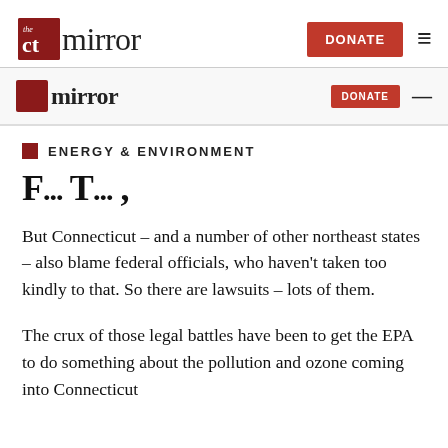the CT mirror | DONATE ≡
CT mirror | DONATE —
ENERGY & ENVIRONMENT
F... T... ,
But Connecticut – and a number of other northeast states – also blame federal officials, who haven't taken too kindly to that. So there are lawsuits – lots of them.
The crux of those legal battles have been to get the EPA to do something about the pollution and ozone coming into Connecticut